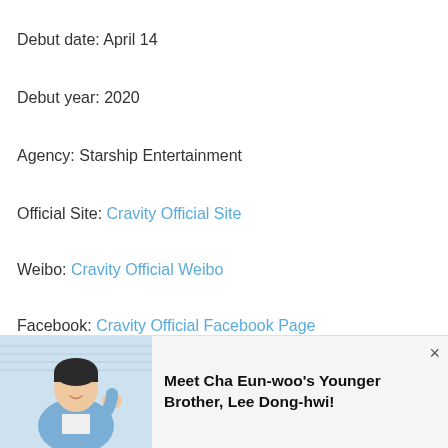Debut date: April 14
Debut year: 2020
Agency: Starship Entertainment
Official Site: Cravity Official Site
Weibo: Cravity Official Weibo
Facebook: Cravity Official Facebook Page
Twitter: Cravity Official Twitter
[Figure (photo): Advertisement banner showing a young man waving, with text 'Meet Cha Eun-woo's Younger Brother, Lee Dong-hwi!']